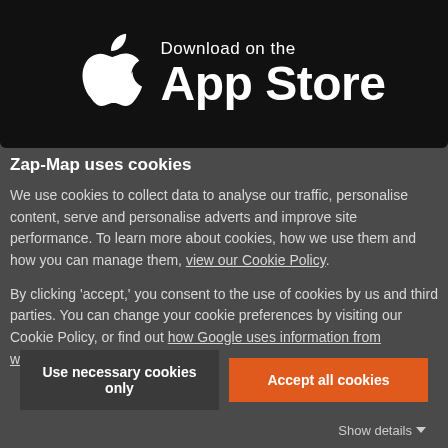[Figure (logo): Download on the App Store badge — black background with white Apple logo on left and 'Download on the App Store' text on right]
Zap-Map uses cookies
We use cookies to collect data to analyse our traffic, personalise content, serve and personalise adverts and improve site performance. To learn more about cookies, how we use them and how you can manage them, view our Cookie Policy.
By clicking 'accept,' you consent to the use of cookies by us and third parties. You can change your cookie preferences by visiting our Cookie Policy, or find out how Google uses information from websites.
Use necessary cookies only
Accept all cookies
Show details